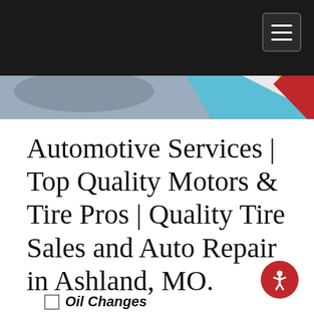[Figure (screenshot): Dark top navigation bar with hamburger menu icon button in top-right corner]
[Figure (photo): Hero image showing a road scene with colorful geometric shapes — blue, yellow, red — on the right side]
Automotive Services | Top Quality Motors & Tire Pros | Quality Tire Sales and Auto Repair in Ashland, MO.
Schedule a Service Appointment
Choose Service(s)
Oil Changes